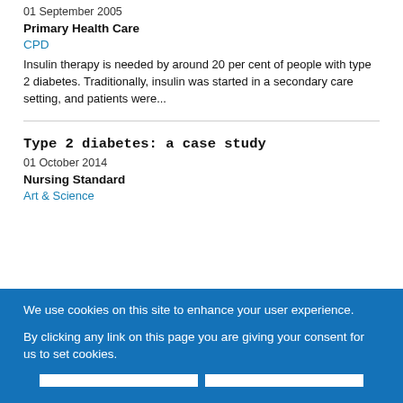01 September 2005
Primary Health Care
CPD
Insulin therapy is needed by around 20 per cent of people with type 2 diabetes. Traditionally, insulin was started in a secondary care setting, and patients were...
Type 2 diabetes: a case study
01 October 2014
Nursing Standard
Art & Science
We use cookies on this site to enhance your user experience.

By clicking any link on this page you are giving your consent for us to set cookies.